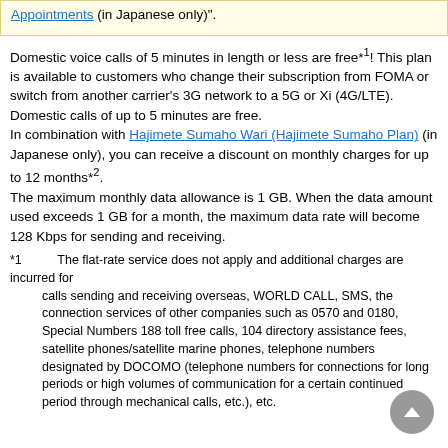Appointments (in Japanese only)".
Domestic voice calls of 5 minutes in length or less are free*1! This plan is available to customers who change their subscription from FOMA or switch from another carrier's 3G network to a 5G or Xi (4G/LTE). Domestic calls of up to 5 minutes are free.
In combination with Hajimete Sumaho Wari (Hajimete Sumaho Plan) (in Japanese only), you can receive a discount on monthly charges for up to 12 months*2.
The maximum monthly data allowance is 1 GB. When the data amount used exceeds 1 GB for a month, the maximum data rate will become 128 Kbps for sending and receiving.
*1 The flat-rate service does not apply and additional charges are incurred for calls sending and receiving overseas, WORLD CALL, SMS, the connection services of other companies such as 0570 and 0180, Special Numbers 188 toll free calls, 104 directory assistance fees, satellite phones/satellite marine phones, telephone numbers designated by DOCOMO (telephone numbers for connections for long periods or high volumes of communication for a certain continued period through mechanical calls, etc.), etc.